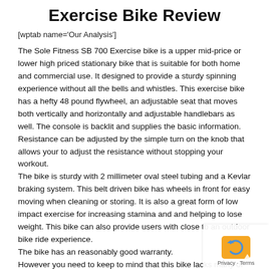Exercise Bike Review
[wptab name='Our Analysis']
The Sole Fitness SB 700 Exercise bike is a upper mid-price or lower high priced stationary bike that is suitable for both home and commercial use. It designed to provide a sturdy spinning experience without all the bells and whistles. This exercise bike has a hefty 48 pound flywheel, an adjustable seat that moves both vertically and horizontally and adjustable handlebars as well. The console is backlit and supplies the basic information. Resistance can be adjusted by the simple turn on the knob that allows your to adjust the resistance without stopping your workout.
The bike is sturdy with 2 millimeter oval steel tubing and a Kevlar braking system. This belt driven bike has wheels in front for easy moving when cleaning or storing. It is also a great form of low impact exercise for increasing stamina and and helping to lose weight. This bike can also provide users with close to an outdoor bike ride experience.
The bike has an reasonably good warranty.
However you need to keep to mind that this bike lacks many of the